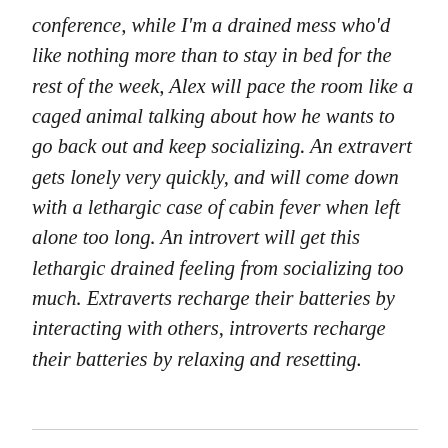conference, while I'm a drained mess who'd like nothing more than to stay in bed for the rest of the week, Alex will pace the room like a caged animal talking about how he wants to go back out and keep socializing. An extravert gets lonely very quickly, and will come down with a lethargic case of cabin fever when left alone too long. An introvert will get this lethargic drained feeling from socializing too much. Extraverts recharge their batteries by interacting with others, introverts recharge their batteries by relaxing and resetting.